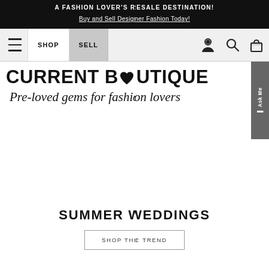A FASHION LOVER'S RESALE DESTINATION! Buy and Sell Designer Fashion Today!
[Figure (screenshot): Navigation bar with hamburger menu icon, SHOP button, SELL button, user icon, search icon, and shopping bag icon]
[Figure (logo): Current Boutique logo with text 'CURRENT BOUTIQUE' and italic script 'Pre-loved gems for fashion lovers', with an Ask Me sidebar tab on the right]
SUMMER WEDDINGS
SHOP THE TREND